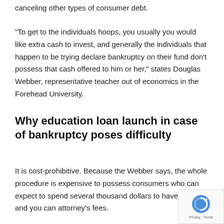canceling other types of consumer debt.
“To get to the individuals hoops, you usually you would like extra cash to invest, and generally the individuals that happen to be trying declare bankruptcy on their fund don’t possess that cash offered to him or her,” states Douglas Webber, representative teacher out of economics in the Forehead University.
Why education loan launch in case of bankruptcy poses difficulty
It is cost-prohibitive. Because the Webber says, the whole procedure is expensive to possess consumers who can expect to spend several thousand dollars to have filing and you can attorney’s fees.